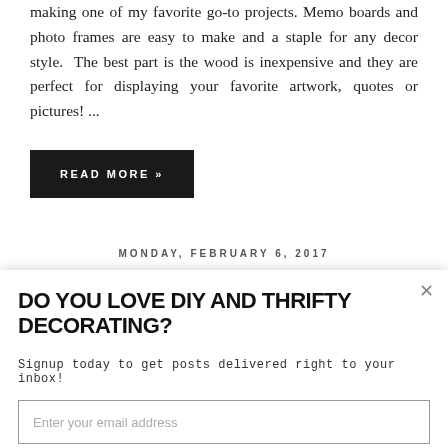making one of my favorite go-to projects. Memo boards and photo frames are easy to make and a staple for any decor style.  The best part is the wood is inexpensive and they are perfect for displaying your favorite artwork, quotes or pictures! ...
READ MORE »
MONDAY, FEBRUARY 6, 2017
DO YOU LOVE DIY AND THRIFTY DECORATING?
Signup today to get posts delivered right to your inbox!
Enter your email address
Subscribe Now